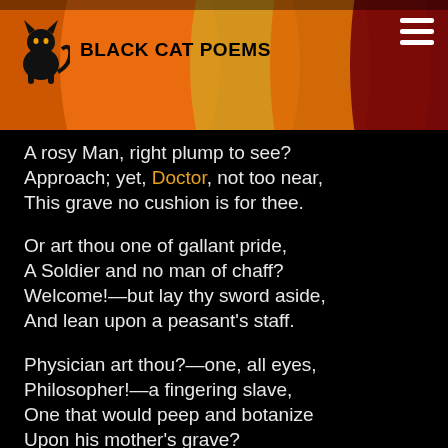BLACK CAT POEMS
A rosy Man, right plump to see?
Approach; yet, Doctor, not too near,
This grave no cushion is for thee.

Or art thou one of gallant pride,
A Soldier and no man of chaff?
Welcome!—but lay thy sword aside,
And lean upon a peasant's staff.

Physician art thou?—one, all eyes,
Philosopher!—a fingering slave,
One that would peep and botanize
Upon his mother's grave?

Wrapt closely in thy sensual fleece,
O turn aside,—and take, I pray,